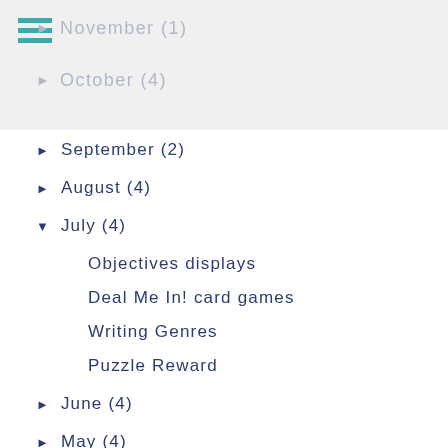November (1)
October (4)
September (2)
August (4)
July (4)
Objectives displays
Deal Me In! card games
Writing Genres
Puzzle Reward
June (4)
May (4)
April (2)
March (3)
February (2)
January (4)